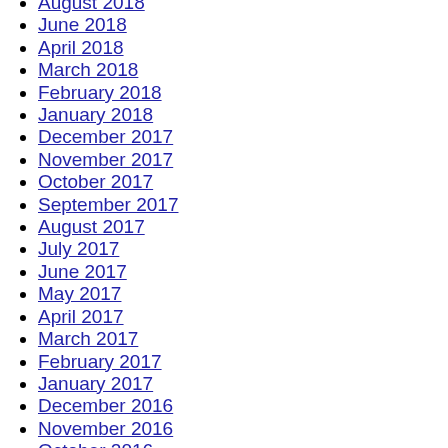August 2018
June 2018
April 2018
March 2018
February 2018
January 2018
December 2017
November 2017
October 2017
September 2017
August 2017
July 2017
June 2017
May 2017
April 2017
March 2017
February 2017
January 2017
December 2016
November 2016
October 2016
September 2016
August 2016
July 2016
April 2016